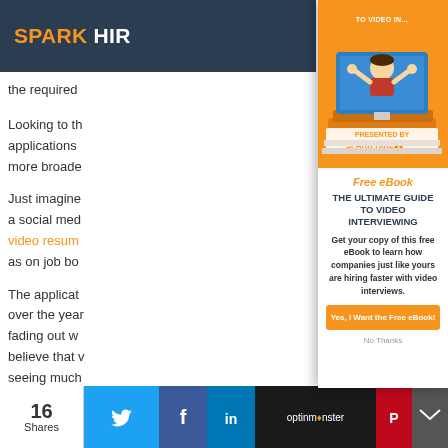SPARK HIRE
the required
Looking to the applications more broadly. Just imagine a social media video resume as on job bo
The applicat over the year fading out w believe that v seeing much
[Figure (illustration): Spark Hire eBook cover — orange background with cartoon woman on a video screen, stacked books, Spark Hire logo. Free eBook: The Ultimate Guide to Video Interviewing popup modal.]
Free eBook
THE ULTIMATE GUIDE TO VIDEO INTERVIEWING
Get your copy of this free eBook to learn how companies just like yours are hiring faster with video interviews.
Yes, I Want the Free eBook!
No Thanks
16 Shares optinmonster